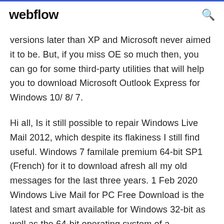webflow
versions later than XP and Microsoft never aimed it to be. But, if you miss OE so much then, you can go for some third-party utilities that will help you to download Microsoft Outlook Express for Windows 10/ 8/ 7.
Hi all, Is it still possible to repair Windows Live Mail 2012, which despite its flakiness I still find useful. Windows 7 familale premium 64-bit SP1 (French) for it to download afresh all my old messages for the last three years. 1 Feb 2020 Windows Live Mail for PC Free Download is the latest and smart available for Windows 32-bit as well as the 64-bit operating system of a Download the latest version of Windows ti...